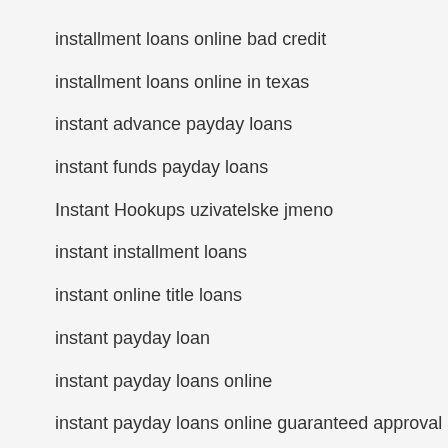installment loans online bad credit
installment loans online in texas
instant advance payday loans
instant funds payday loans
Instant Hookups uzivatelske jmeno
instant installment loans
instant online title loans
instant payday loan
instant payday loans online
instant payday loans online guaranteed approval
instant title loans